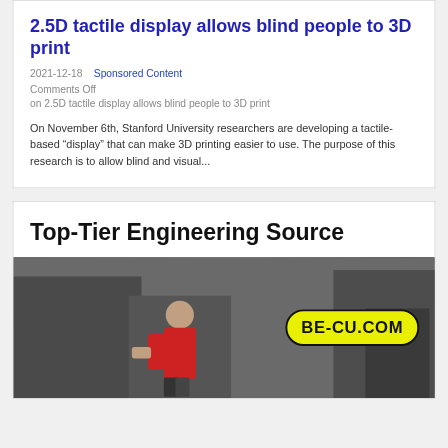2.5D tactile display allows blind people to 3D print
2021-12-18   Sponsored Content
Comments Off
on 2.5D tactile display allows blind people to 3D print
On November 6th, Stanford University researchers are developing a tactile-based “display” that can make 3D printing easier to use. The purpose of this research is to allow blind and visual...
Top-Tier Engineering Source
[Figure (photo): Industrial scene with a worker in a red shirt working near heavy machinery. A yellow oval badge with black text reads BE-CU.COM overlaid on the right side of the image.]